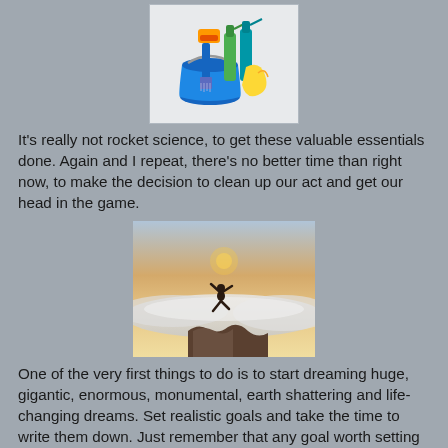[Figure (photo): A blue bucket filled with cleaning supplies including spray bottles, sponges, and yellow rubber gloves]
It's really not rocket science, to get these valuable essentials done. Again and I repeat, there's no better time than right now, to make the decision to clean up our act and get our head in the game.
[Figure (photo): A person jumping/leaping on a rocky mountain peak above a sea of clouds at sunrise or sunset]
One of the very first things to do is to start dreaming huge, gigantic, enormous, monumental, earth shattering and life-changing dreams. Set realistic goals and take the time to write them down. Just remember that any goal worth setting is worth writing down. Any unwritten goal, is nothing more than a mere dream.